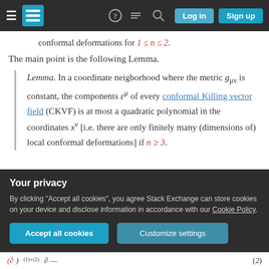Stack Exchange navigation bar with hamburger menu, logo, help, chat, search icons, Log in and Sign up buttons
conformal deformations for 1 ≤ n ≤ 2.
The main point is the following Lemma.
Lemma. In a coordinate neigborhood where the metric g_{μν} is constant, the components ε^μ of every conformal Killing vector field (CKVF) is at most a quadratic polynomial in the coordinates x^ν [i.e. there are only finitely many (dimensions of) local conformal deformations] if n ≥ 3.
Your privacy
By clicking "Accept all cookies", you agree Stack Exchange can store cookies on your device and disclose information in accordance with our Cookie Policy.
Accept all cookies   Customize settings